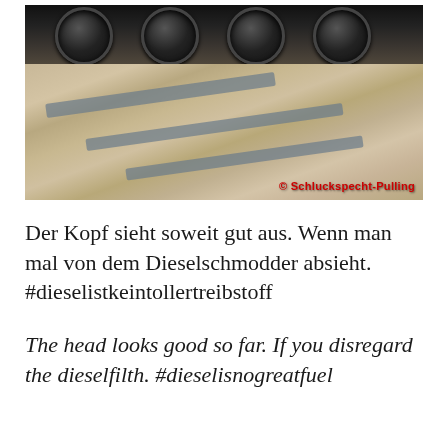[Figure (photo): Photo of a diesel engine cylinder head placed on a wooden pallet. The top of the image shows four black circular cylinders with visible valves. The engine head sits on wooden boards with dark grey non-slip strips. A watermark reads '© Schluckspecht-Pulling' in red text.]
Der Kopf sieht soweit gut aus. Wenn man mal von dem Dieselschmodder absieht. #dieselistkeintollertreibstoff
The head looks good so far. If you disregard the dieselfilth. #dieselisnogreatfuel